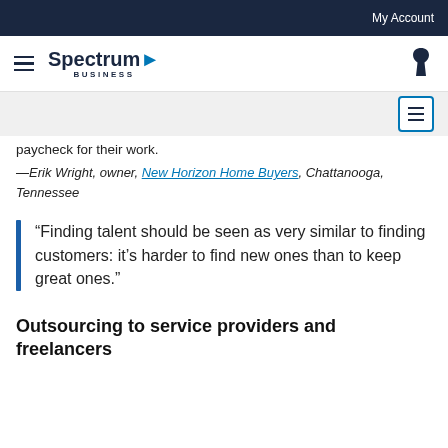My Account
[Figure (logo): Spectrum Business logo with hamburger menu icon on left and phone icon on right]
paycheck for their work.
—Erik Wright, owner, New Horizon Home Buyers, Chattanooga, Tennessee
“Finding talent should be seen as very similar to finding customers: it’s harder to find new ones than to keep great ones.”
Outsourcing to service providers and freelancers